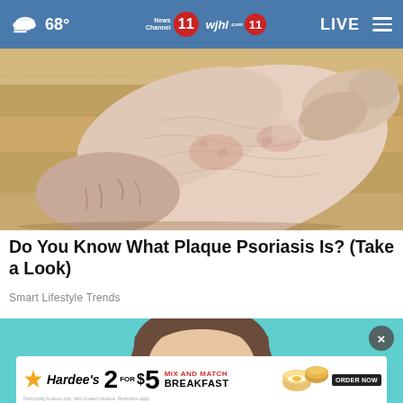68° News Channel 11 wjhl 11 LIVE
[Figure (photo): Close-up photo of a human foot/heel showing dry, cracked, scaly skin consistent with plaque psoriasis, on a wooden floor background]
Do You Know What Plaque Psoriasis Is? (Take a Look)
Smart Lifestyle Trends
[Figure (photo): Advertisement image with teal/cyan background showing a woman's head partially visible, with a Hardee's 2 for $5 Mix and Match Breakfast advertisement banner overlay showing food items and an Order Now button]